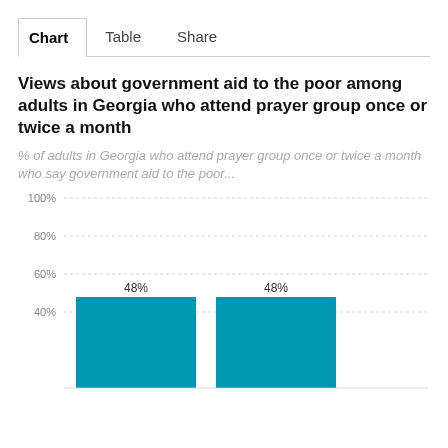Chart | Table | Share
Views about government aid to the poor among adults in Georgia who attend prayer group once or twice a month
% of adults in Georgia who attend prayer group once or twice a month who say government aid to the poor...
[Figure (bar-chart): Views about government aid to the poor among adults in Georgia who attend prayer group once or twice a month]